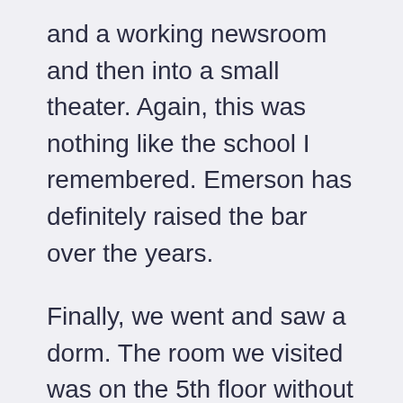and a working newsroom and then into a small theater. Again, this was nothing like the school I remembered. Emerson has definitely raised the bar over the years.
Finally, we went and saw a dorm. The room we visited was on the 5th floor without much of a view. It was moderately sized by dorm standards. I wondered, if Steffie went, how she'd decide what small percentage of her possessions to take.